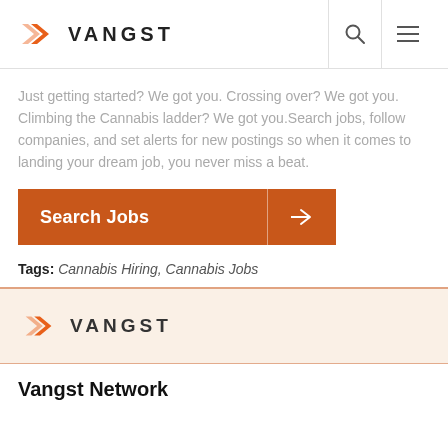VANGST
Just getting started? We got you. Crossing over? We got you. Climbing the Cannabis ladder? We got you.Search jobs, follow companies, and set alerts for new postings so when it comes to landing your dream job, you never miss a beat.
[Figure (other): Orange 'Search Jobs' button with arrow icon on the right]
Tags: Cannabis Hiring, Cannabis Jobs
[Figure (logo): Vangst logo on light peach/cream background]
Vangst Network